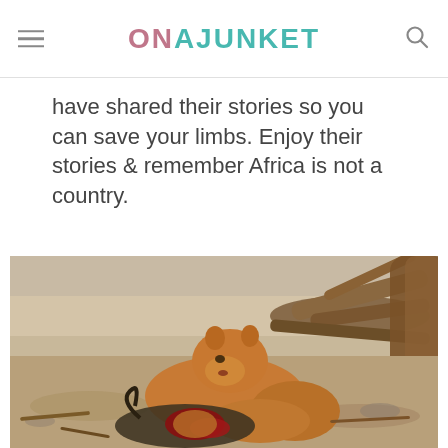ONAJUNKET
have shared their stories so you can save your limbs. Enjoy their stories & remember Africa is not a country.
[Figure (photo): A lioness feeding on a kill (wildebeest or buffalo) on dry ground with fallen tree branches in the background, in an African savanna setting.]